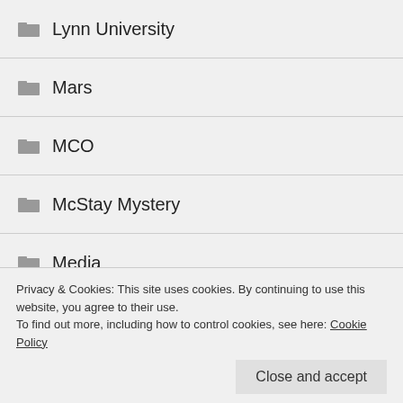Lynn University
Mars
MCO
McStay Mystery
Media
MGM
Michael Eisner
motorcycle
Privacy & Cookies: This site uses cookies. By continuing to use this website, you agree to their use.
To find out more, including how to control cookies, see here: Cookie Policy
Close and accept